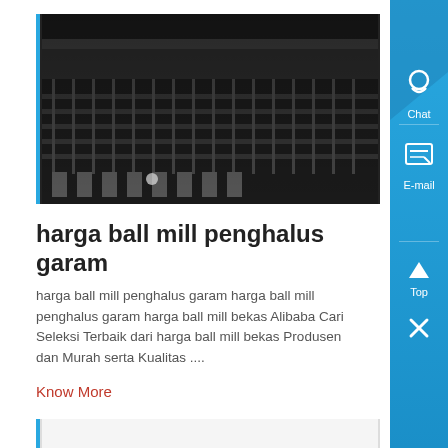[Figure (photo): Industrial ball mill machinery with metal grating and mechanical components, dark industrial setting]
harga ball mill penghalus garam
harga ball mill penghalus garam harga ball mill penghalus garam harga ball mill bekas Alibaba Cari Seleksi Terbaik dari harga ball mill bekas Produsen dan Murah serta Kualitas ....
Know More
[Figure (photo): Black rubber rolls and mechanical parts including gears and hardware components on white surface]